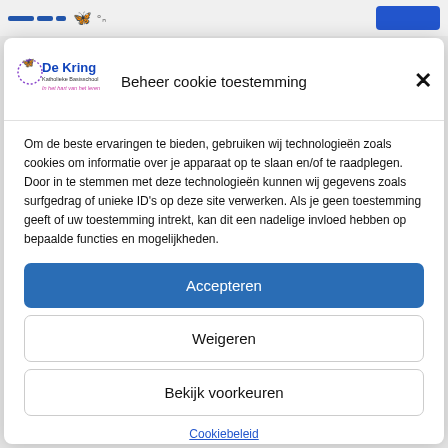De Kring — Beheer cookie toestemming
Beheer cookie toestemming
Om de beste ervaringen te bieden, gebruiken wij technologieën zoals cookies om informatie over je apparaat op te slaan en/of te raadplegen. Door in te stemmen met deze technologieën kunnen wij gegevens zoals surfgedrag of unieke ID's op deze site verwerken. Als je geen toestemming geeft of uw toestemming intrekt, kan dit een nadelige invloed hebben op bepaalde functies en mogelijkheden.
Accepteren
Weigeren
Bekijk voorkeuren
Cookiebeleid